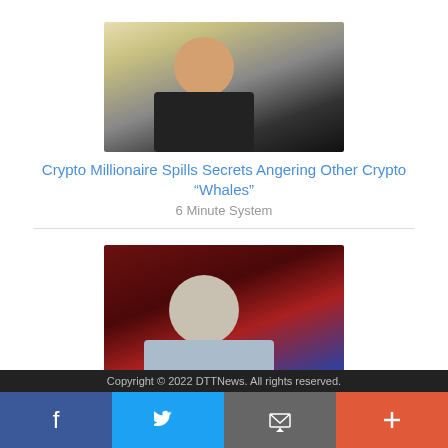[Figure (photo): A bald man in a dark shirt with hand near face, yellowish background]
Crypto Millionaire Spills Secrets Angering Other Crypto “Whales”
6 Minute System
[Figure (photo): An older man in a light blue shirt against a dark red/stock ticker background]
First look — Bonner’s 4th and Final Prediction
Stansberry Research
[Figure (logo): Dianomi logo]
Copyright © 2022 DTTNews. All rights reserved.
Facebook Twitter Email Share social buttons